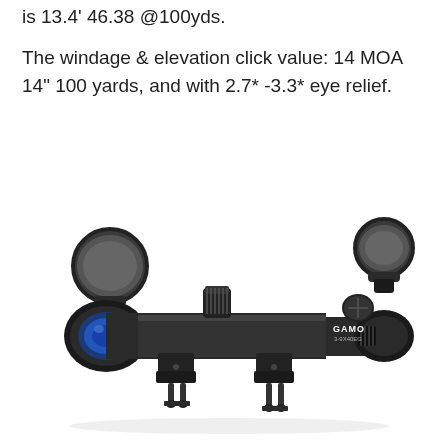is 13.4' 46.38 @100yds.
The windage & elevation click value: 14 MOA 14" 100 yards, and with 2.7* -3.3* eye relief.
[Figure (photo): Black rifle scope with flip-up lens caps open on both ends, adjustment turrets on top, and two-piece Weaver/Picatinny rail mount rings attached at the bottom. The scope body has 'GAMO' branding. Blue-coated objective lens visible on left end.]